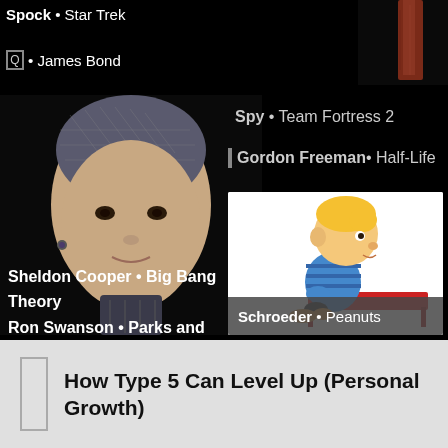Spock • Star Trek
Q • James Bond
[Figure (photo): Photo of Ava, the android from Ex Machina, with mesh-like scalp and robotic neck details, against a dark background]
Ava • Ex Machina
Sheldon Cooper • Big Bang Theory
Ron Swanson • Parks and
[Figure (photo): Small reddish object (possibly a wooden item) in the top right corner]
Spy • Team Fortress 2
Gordon Freeman • Half-Life
[Figure (illustration): Schroeder from Peanuts comic strip, a blonde boy sitting at a red piano, wearing a blue striped shirt]
Schroeder • Peanuts
How Type 5 Can Level Up (Personal Growth)